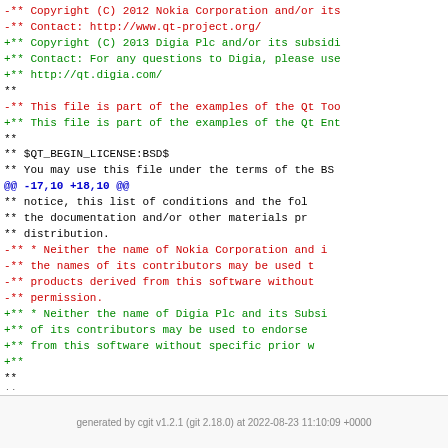Code diff showing copyright header changes from Nokia to Digia in Qt source file, with BSD license text and @@ -17,10 +18,10 @@ hunk header.
generated by cgit v1.2.1 (git 2.18.0) at 2022-08-23 11:10:09 +0000